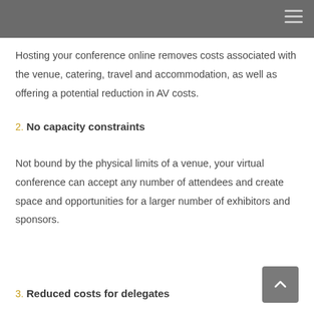Hosting your conference online removes costs associated with the venue, catering, travel and accommodation, as well as offering a potential reduction in AV costs.
2. No capacity constraints
Not bound by the physical limits of a venue, your virtual conference can accept any number of attendees and create space and opportunities for a larger number of exhibitors and sponsors.
3. Reduced costs for delegates